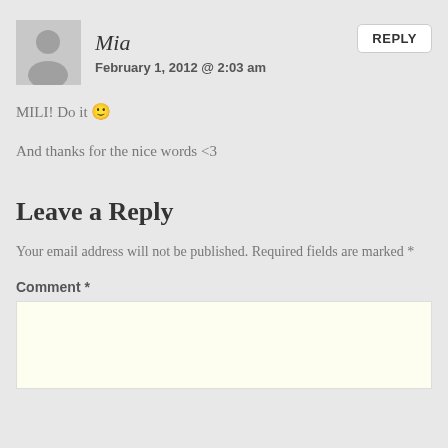Mia
February 1, 2012 @ 2:03 am
REPLY
MILI! Do it 🙂
And thanks for the nice words <3
Leave a Reply
Your email address will not be published. Required fields are marked *
Comment *